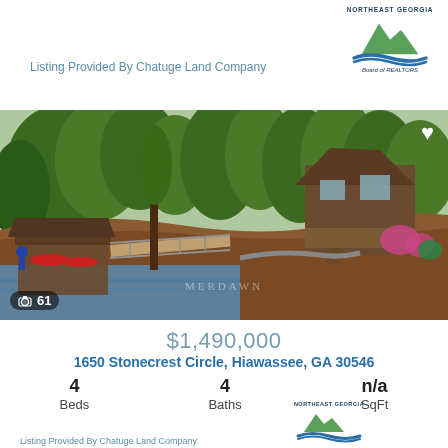[Figure (logo): Northeast Georgia Board of REALTORS logo in top right]
Listing Provided By Chatuge Land Company
[Figure (photo): Lakefront cabin with boat dock, walkway over water, surrounded by lush green trees and mulched landscaping. Camera icon with 61 photos overlay. Heart/favorite icon in top right.]
$1,490,000
1650 Stonecrest Circle, Hiawassee, GA 30546
| 4 | 4 | n/a |
| Beds | Baths | SqFt |
[Figure (logo): Northeast Georgia Board of REALTORS logo at bottom center]
Listing Provided By Chatuge Land Company